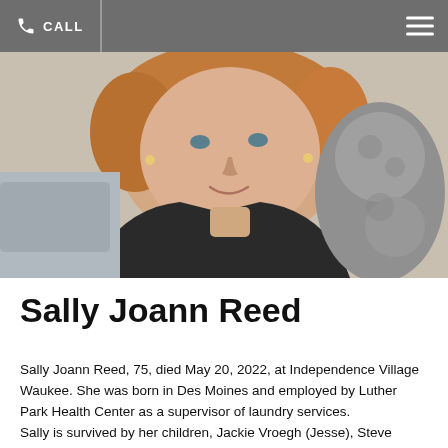CALL
[Figure (photo): Portrait photo of Sally Joann Reed, a middle-aged woman with reddish-blonde hair, smiling, wearing a dark jacket, photographed outdoors near a sculptural element.]
Sally Joann Reed
Sally Joann Reed, 75, died May 20, 2022, at Independence Village Waukee. She was born in Des Moines and employed by Luther Park Health Center as a supervisor of laundry services.
Sally is survived by her children, Jackie Vroegh (Jesse), Steve (Becky) Reed Sr., Will Reed and Ron Reed; grandchildren, Steve Reed, Jr., Dustin